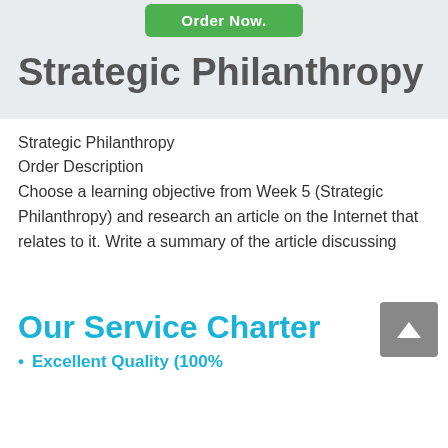Order Now.
Strategic Philanthropy
Strategic Philanthropy
Order Description
Choose a learning objective from Week 5 (Strategic Philanthropy) and research an article on the Internet that relates to it. Write a summary of the article discussing
Our Service Charter
Excellent Quality (100%